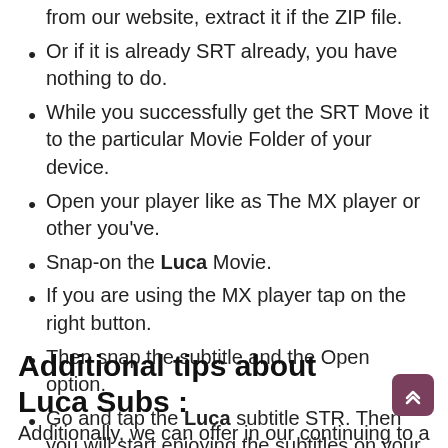from our website, extract it if the ZIP file.
Or if it is already SRT already, you have nothing to do.
While you successfully get the SRT Move it to the particular Movie Folder of your device.
Open your player like as The MX player or other you've.
Snap-on the Luca Movie.
If you are using the MX player tap on the right button.
Then snap the subtitle and the Open option.
Go and tap the Luca subtitle STR. Then you will start enjoying the subtitles on your player.
Additional tips about Luca Subs :
Additionally, we can offer in our continuing to analyze